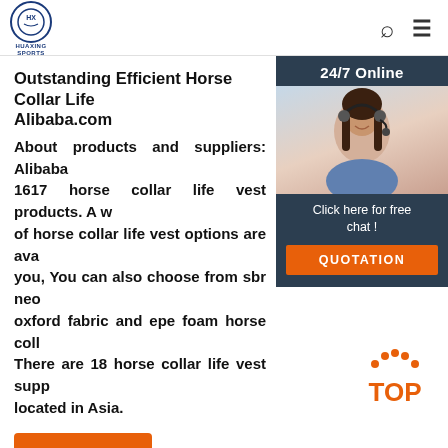HUAXING SPORTS
[Figure (other): Chat widget with 24/7 Online label, photo of woman with headset, 'Click here for free chat!' text, and orange QUOTATION button]
Outstanding Efficient Horse Collar Life Alibaba.com
About products and suppliers: Alibaba 1617 horse collar life vest products. A wide of horse collar life vest options are available to you, You can also choose from sbr neoprene oxford fabric and epe foam horse collar. There are 18 horse collar life vest suppliers, located in Asia.
Get Price
[Figure (other): Orange TOP button with dotted arc above the text]